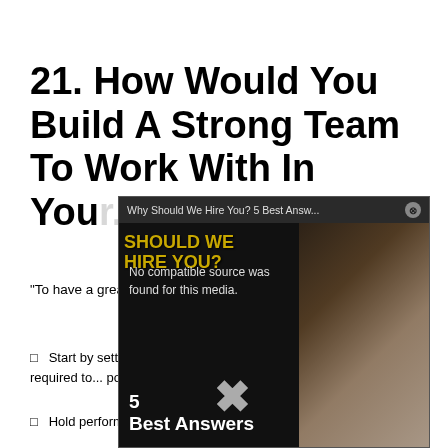21. How Would You Build A Strong Team To Work With In Your...
“To have a great team, you would...
Start by setting expectations, required to... point.
Hold performance reviews to pick the best...
[Figure (screenshot): Video popup overlay titled 'Why Should We Hire You? 5 Best Answ...' showing 'No compatible source was found for this media.' with thumbnail of man in white shirt and gold text 'SHOULD WE HIRE YOU? 5 Best Answers' with X cursor icon and close button.]
x